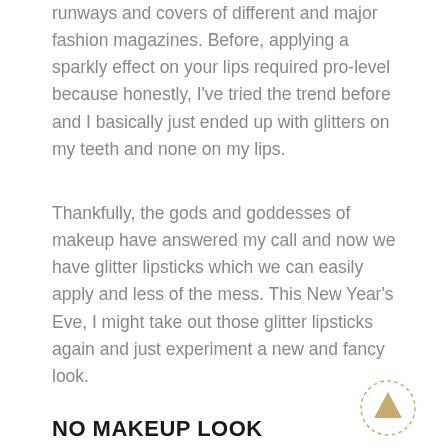runways and covers of different and major fashion magazines. Before, applying a sparkly effect on your lips required pro-level because honestly, I've tried the trend before and I basically just ended up with glitters on my teeth and none on my lips.
Thankfully, the gods and goddesses of makeup have answered my call and now we have glitter lipsticks which we can easily apply and less of the mess. This New Year's Eve, I might take out those glitter lipsticks again and just experiment a new and fancy look.
NO MAKEUP LOOK